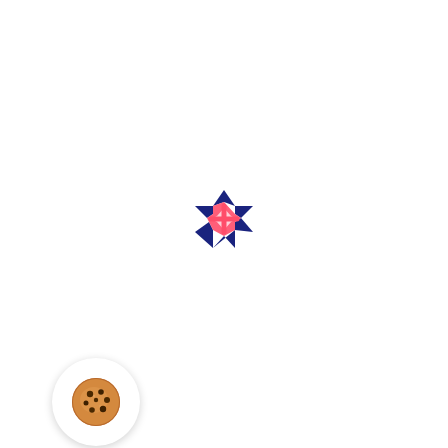[Figure (logo): A circular logo made of dark blue triangular segments arranged around a central star/asterisk shape in red/pink, resembling a pinwheel or compass rose design.]
[Figure (illustration): A circular white button/icon with a cookie (chocolate chip cookie) image centered within it, with a soft drop shadow.]